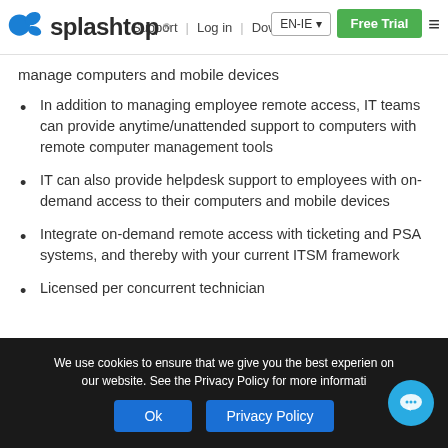Support | Log in | Downloads EN-IE | Free Trial
[Figure (logo): Splashtop logo with blue splash icon and bold text]
manage computers and mobile devices
In addition to managing employee remote access, IT teams can provide anytime/unattended support to computers with remote computer management tools
IT can also provide helpdesk support to employees with on-demand access to their computers and mobile devices
Integrate on-demand remote access with ticketing and PSA systems, and thereby with your current ITSM framework
Licensed per concurrent technician
We use cookies to ensure that we give you the best experience on our website. See the Privacy Policy for more information.